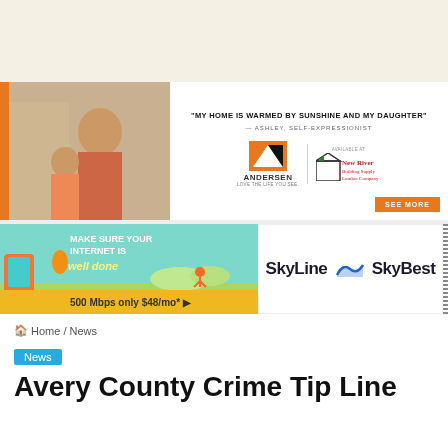[Figure (illustration): Andersen Windows advertisement showing a parent and child playing indoors. Text: 'MY HOME IS WARMED BY SUNSHINE AND MY DAUGHTER' — ASHLEY, SELF-EXPRESSIONIST. Andersen Windows logo and New River Building Supply logo. SEE MORE button.]
[Figure (illustration): SkyLine SkyBest advertisement. Text: MAKE SURE YOUR INTERNET IS well done. 500 Mbps only $48/mo*. SkyLine SkyBest logo on right side.]
Home / News
News
Avery County Crime Tip Line